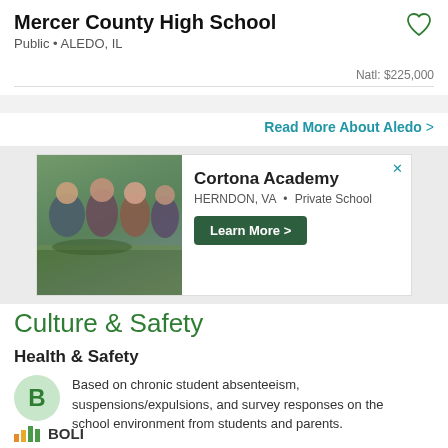Mercer County High School
Public • ALEDO, IL
Natl: $225,000
Read More About Aledo >
[Figure (infographic): Advertisement for Cortona Academy in Herndon, VA with photo of students on a field and a Learn More button]
Culture & Safety
Health & Safety
Based on chronic student absenteeism, suspensions/expulsions, and survey responses on the school environment from students and parents.
BOLI